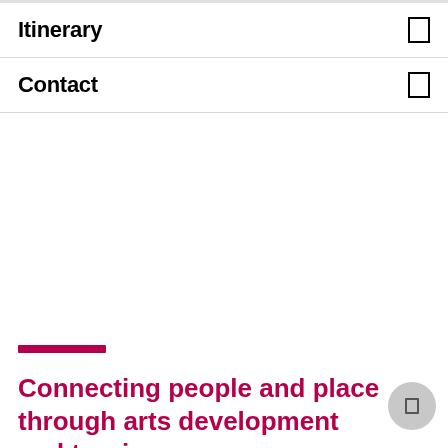Itinerary
Contact
Connecting people and place through arts development and touring.